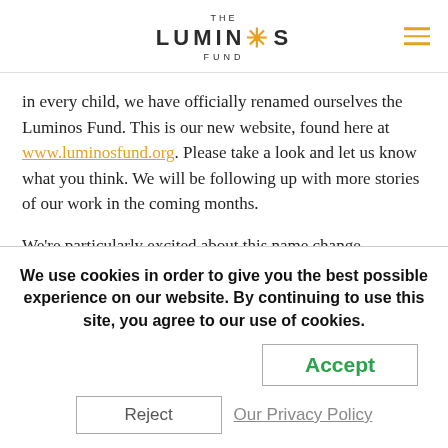THE LUMINOS FUND
in every child, we have officially renamed ourselves the Luminos Fund. This is our new website, found here at www.luminosfund.org. Please take a look and let us know what you think. We will be following up with more stories of our work in the coming months.
We're particularly excited about this name change
We use cookies in order to give you the best possible experience on our website. By continuing to use this site, you agree to our use of cookies.
Accept
Reject
Our Privacy Policy